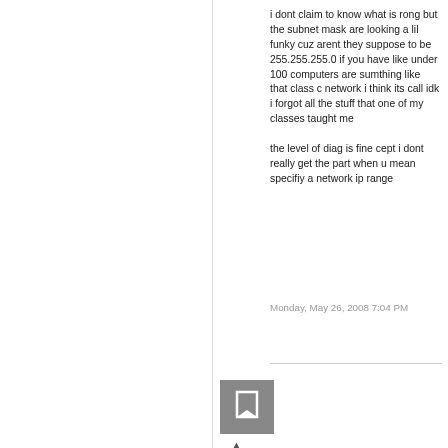i dont claim to know what is rong but the subnet mask are looking a lil funky cuz arent they suppose to be 255.255.255.0 if you have like under 100 computers are sumthing like that class c network i think its call idk i forgot all the stuff that one of my classes taught me

the level of diag is fine cept i dont really get the part when u mean specifiy a network ip range
Monday, May 26, 2008 7:04 PM
[Figure (other): Gray square avatar placeholder icon with a flag/bookmark symbol]
0
Sign in